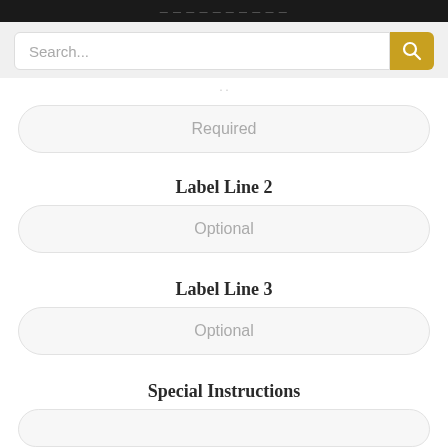[Figure (screenshot): Search bar with text input placeholder 'Search...' and a gold magnifying glass button]
Required
Label Line 2
Optional
Label Line 3
Optional
Special Instructions
Optional